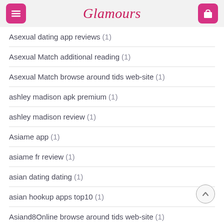Glamours
Asexual dating app reviews (1)
Asexual Match additional reading (1)
Asexual Match browse around tids web-site (1)
ashley madison apk premium (1)
ashley madison review (1)
Asiame app (1)
asiame fr review (1)
asian dating dating (1)
asian hookup apps top10 (1)
Asiand8Online browse around tids web-site (1)